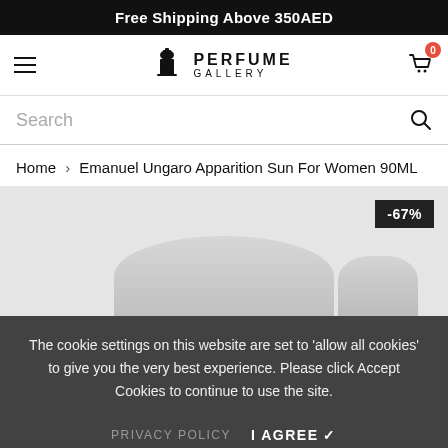Free Shipping Above 350AED
[Figure (logo): Perfume Gallery logo with hamburger menu on left and shopping cart icon with 0 badge on right]
Search
Home > Emanuel Ungaro Apparition Sun For Women 90ML
[Figure (photo): Product page with -67% discount badge in top right corner, showing partial product images at bottom]
The cookie settings on this website are set to 'allow all cookies' to give you the very best experience. Please click Accept Cookies to continue to use the site.
PRIVACY POLICY   I AGREE ✔